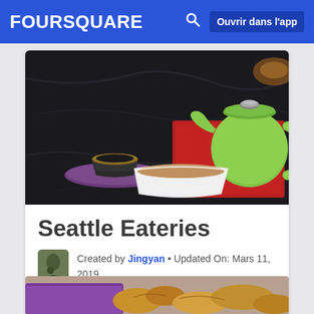FOURSQUARE  Ouvrir dans l'app
[Figure (photo): Photo of a green ceramic teapot on a red napkin and a dark metal Vietnamese coffee filter on a purple saucer, with a white bowl of tea/liquid on a dark marble surface]
Seattle Eateries
Created by Jingyan • Updated On: Mars 11, 2019
Partager   Tweet
[Figure (photo): Partial photo at bottom showing food items with purple/orange colors, partially cropped]